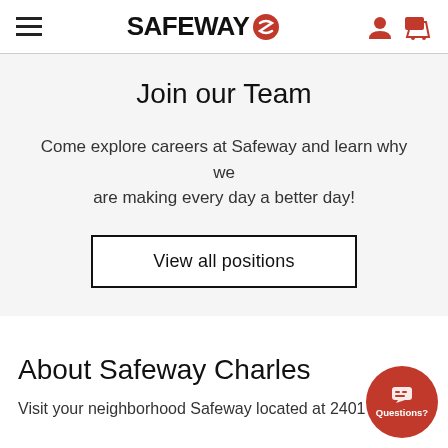SAFEWAY
Join our Team
Come explore careers at Safeway and learn why we are making every day a better day!
View all positions
About Safeway Charles
Visit your neighborhood Safeway located at 2401 N